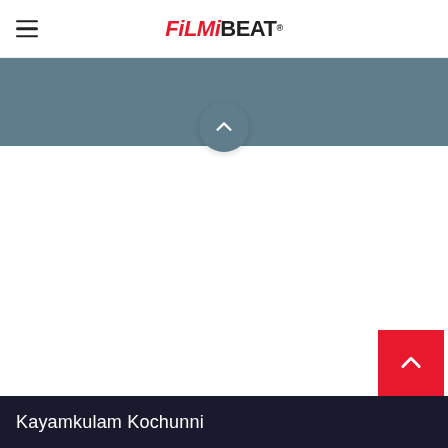FilmiBeat
[Figure (screenshot): Gray-blue banner with a circular back-to-top button (chevron up) overlapping the bottom edge]
[Figure (screenshot): Red square back-to-top button with chevron up arrow, positioned at bottom right]
Kayamkulam Kochunni